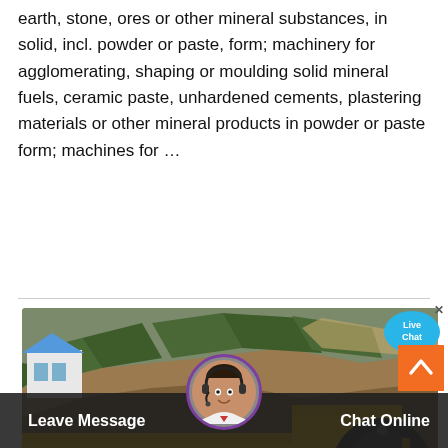earth, stone, ores or other mineral substances, in solid, incl. powder or paste, form; machinery for agglomerating, shaping or moulding solid mineral fuels, ceramic paste, unhardened cements, plastering materials or other mineral products in powder or paste form; machines for ...
[Figure (photo): Yellow jaw crusher / mining machinery on a construction site with dirt hillside, trees, and a small white building in background. A customer service chat interface overlays the bottom with an avatar of a woman with a headset.]